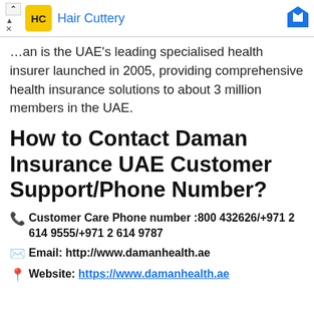[Figure (other): Hair Cuttery advertisement banner with logo and name]
...an is the UAE's leading specialised health insurer launched in 2005, providing comprehensive health insurance solutions to about 3 million members in the UAE.
How to Contact Daman Insurance UAE Customer Support/Phone Number?
📞 Customer Care Phone number :800 432626/+971 2 614 9555/+971 2 614 9787
✉ Email: http://www.damanhealth.ae
📍 Website: https://www.damanhealth.ae